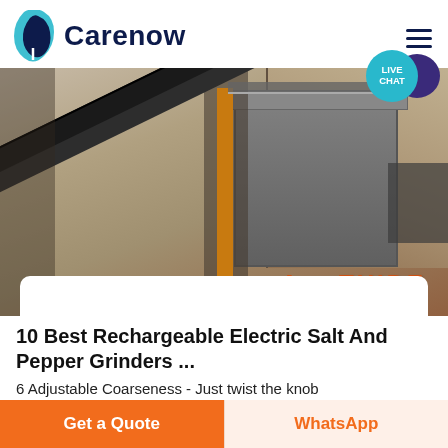Carenow
[Figure (photo): Industrial mining facility with conveyor belts, metal structure/tower, orange beam support, rocky quarry background. Watermark text 'THIDE' visible in orange at bottom right.]
10 Best Rechargeable Electric Salt And Pepper Grinders ...
6 Adjustable Coarseness - Just twist the knob
Get a Quote
WhatsApp